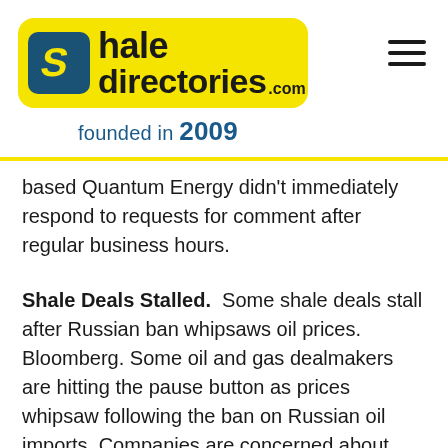[Figure (logo): Shale Directories logo with yellow background, blue S icon, and text 'shale directories.com founded in 2009']
based Quantum Energy didn't immediately respond to requests for comment after regular business hours.
Shale Deals Stalled. Some shale deals stall after Russian ban whipsaws oil prices. Bloomberg. Some oil and gas dealmakers are hitting the pause button as prices whipsaw following the ban on Russian oil imports. Companies are concerned about overpaying for assets while focused on